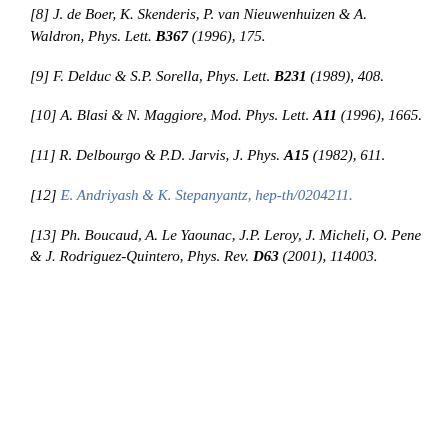[8] J. de Boer, K. Skenderis, P. van Nieuwenhuizen & A. Waldron, Phys. Lett. B367 (1996), 175.
[9] F. Delduc & S.P. Sorella, Phys. Lett. B231 (1989), 408.
[10] A. Blasi & N. Maggiore, Mod. Phys. Lett. A11 (1996), 1665.
[11] R. Delbourgo & P.D. Jarvis, J. Phys. A15 (1982), 611.
[12] E. Andriyash & K. Stepanyantz, hep-th/0204211.
[13] Ph. Boucaud, A. Le Yaounac, J.P. Leroy, J. Micheli, O. Pene & J. Rodriguez-Quintero, Phys. Rev. D63 (2001), 114003.